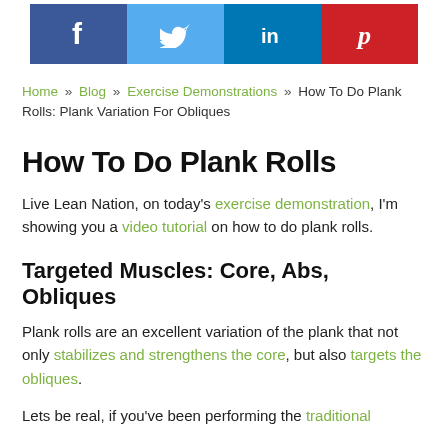[Figure (other): Social share buttons: Facebook (dark blue), Twitter (light blue), LinkedIn (blue), Pinterest (red), each with white icon]
Home » Blog » Exercise Demonstrations » How To Do Plank Rolls: Plank Variation For Obliques
How To Do Plank Rolls
Live Lean Nation, on today's exercise demonstration, I'm showing you a video tutorial on how to do plank rolls.
Targeted Muscles: Core, Abs, Obliques
Plank rolls are an excellent variation of the plank that not only stabilizes and strengthens the core, but also targets the obliques.
Lets be real, if you've been performing the traditional